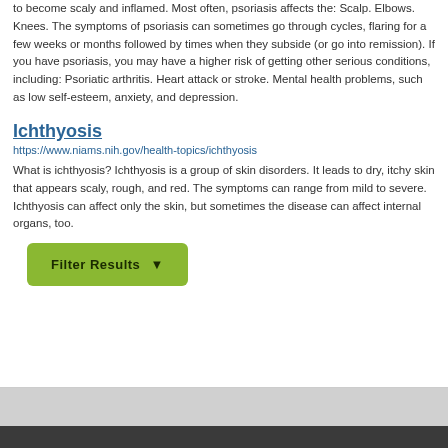to become scaly and inflamed. Most often, psoriasis affects the: Scalp. Elbows. Knees. The symptoms of psoriasis can sometimes go through cycles, flaring for a few weeks or months followed by times when they subside (or go into remission). If you have psoriasis, you may have a higher risk of getting other serious conditions, including: Psoriatic arthritis. Heart attack or stroke. Mental health problems, such as low self-esteem, anxiety, and depression.
Ichthyosis
https://www.niams.nih.gov/health-topics/ichthyosis
What is ichthyosis? Ichthyosis is a group of skin disorders. It leads to dry, itchy skin that appears scaly, rough, and red. The symptoms can range from mild to severe. Ichthyosis can affect only the skin, but sometimes the disease can affect internal organs, too.
Filter Results